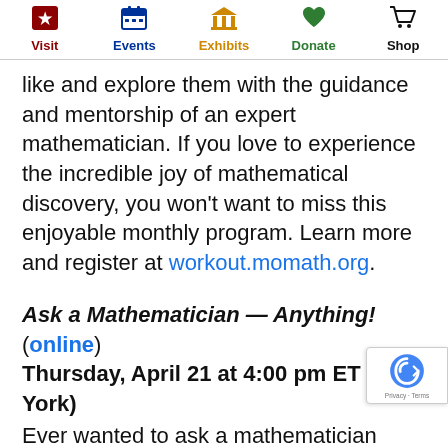Visit | Events | Exhibits | Donate | Shop
like and explore them with the guidance and mentorship of an expert mathematician.  If you love to experience the incredible joy of mathematical discovery, you won't want to miss this enjoyable monthly program.  Learn more and register at workout.momath.org.
Ask a Mathematician — Anything! (online) Thursday, April 21 at 4:00 pm ET (New York)
Ever wanted to ask a mathematician something, maybe about a curious new idea you have, or a concept you'd like to understand better?  Don't know whom to